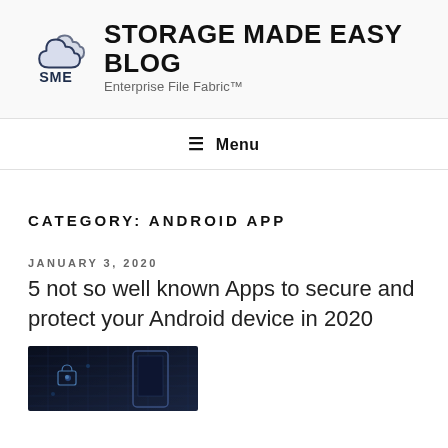[Figure (logo): SME cloud logo with two overlapping cloud shapes and 'SME' text in dark blue]
STORAGE MADE EASY BLOG
Enterprise File Fabric™
≡ Menu
CATEGORY: ANDROID APP
JANUARY 3, 2020
5 not so well known Apps to secure and protect your Android device in 2020
[Figure (photo): Dark photo of an Android device with tech/security visual elements]